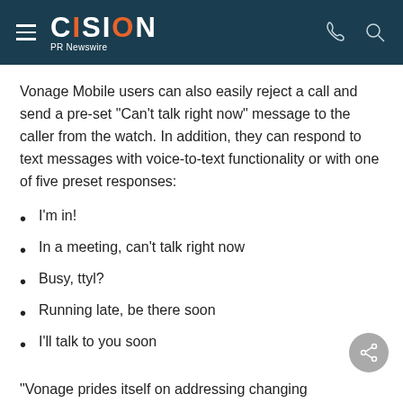CISION PR Newswire
Vonage Mobile users can also easily reject a call and send a pre-set "Can't talk right now" message to the caller from the watch. In addition, they can respond to text messages with voice-to-text functionality or with one of five preset responses:
I'm in!
In a meeting, can't talk right now
Busy, ttyl?
Running late, be there soon
I'll talk to you soon
"Vonage prides itself on addressing changing